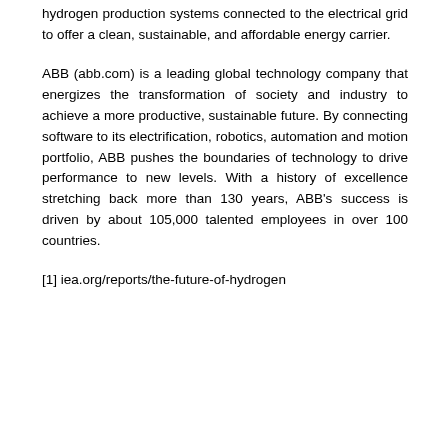hydrogen production systems connected to the electrical grid to offer a clean, sustainable, and affordable energy carrier.
ABB (abb.com) is a leading global technology company that energizes the transformation of society and industry to achieve a more productive, sustainable future. By connecting software to its electrification, robotics, automation and motion portfolio, ABB pushes the boundaries of technology to drive performance to new levels. With a history of excellence stretching back more than 130 years, ABB’s success is driven by about 105,000 talented employees in over 100 countries.
[1] iea.org/reports/the-future-of-hydrogen